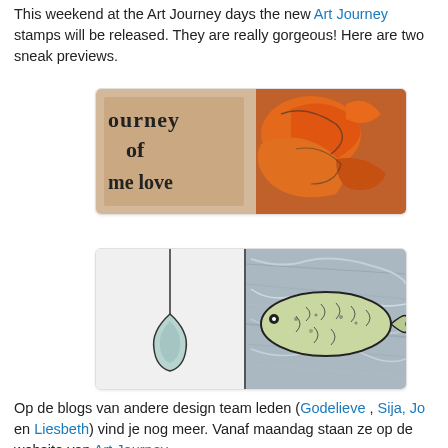This weekend at the Art Journey days the new Art Journey stamps will be released. They are really gorgeous! Here are two sneak previews.
[Figure (photo): Close-up of an Art Journey stamp showing partial text 'Journey of me love' on a beige background, with an orange bird/heart figure stamped on the right side.]
[Figure (photo): Close-up of Art Journey stamps showing two panels: left panel has a teardrop/pendant shape on a white background; right panel has a fish shape on a crinkled foil/silver background with green coloring.]
Op de blogs van andere design team leden (Godelieve , Sija, Jo en Liesbeth) vind je nog meer. Vanaf maandag staan ze op de website van Art Journey.